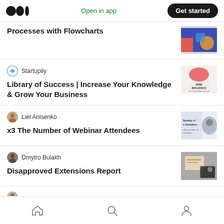Medium logo | Open in app | Get started
Processes with Flowcharts
Startupily
Library of Success | Increase Your Knowledge & Grow Your Business
Liel Anisenko
x3 The Number of Webinar Attendees
Dmytro Bulakh
Disapproved Extensions Report
Home | Search | Profile